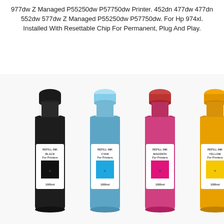977dw Z Managed P55250dw P57750dw Printer. 452dn 477dw 477dn 552dw 577dw Z Managed P55250dw P57750dw. For Hp 974xl. Installed With Resettable Chip For Permanent, Plug And Play.
[Figure (photo): Four ink refill bottles in a row: black, cyan/blue, magenta/pink, and yellow. Each bottle has a white label reading 'REFILL INK' with a colored square showing the ink color (black, cyan, magenta, yellow). The bottles are large plastic containers photographed against a white background.]